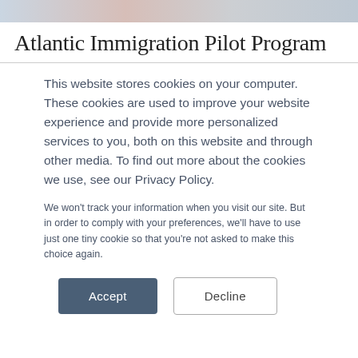Atlantic Immigration Pilot Program
This website stores cookies on your computer. These cookies are used to improve your website experience and provide more personalized services to you, both on this website and through other media. To find out more about the cookies we use, see our Privacy Policy.
We won't track your information when you visit our site. But in order to comply with your preferences, we'll have to use just one tiny cookie so that you're not asked to make this choice again.
Accept  Decline